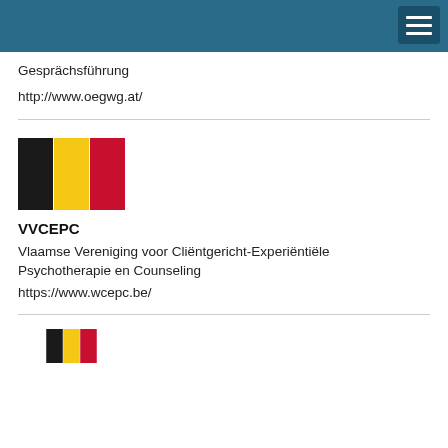Gesprächsführung
http://www.oegwg.at/
[Figure (illustration): Belgian flag (black, yellow, red vertical stripes)]
VVCEPC
Vlaamse Vereniging voor Cliëntgericht-Experiëntiële Psychotherapie en Counseling
https://www.wcepc.be/
[Figure (illustration): Belgian flag partial (black, yellow, red vertical stripes)]